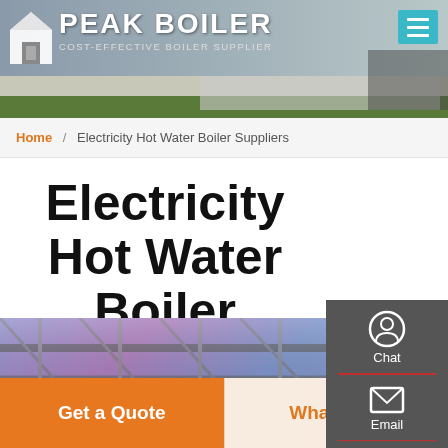[Figure (screenshot): Peak Boiler website header banner with logo, 'PEAK BOILER' text, 'COST-EFFECTIVE BOILER SUPPLIER' tagline, background photo of industrial building, and teal hamburger menu button]
Home / Electricity Hot Water Boiler Suppliers
Electricity Hot Water Boiler Suppliers
[Figure (photo): Interior photo of industrial boiler room with steel structure ceiling, pipes and heating equipment in purple/blue tones]
Chat
Email
Contact
Get a Quote
WhatsApp